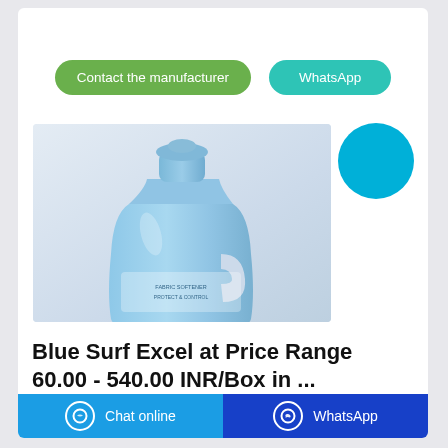Contact the manufacturer
WhatsApp
[Figure (photo): Blue laundry detergent bottle (Surf Excel) with blue cap on light grey/pink background]
Blue Surf Excel at Price Range 60.00 - 540.00 INR/Box in ...
Chat online
WhatsApp